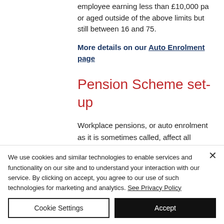employee earning less than £10,000 pa or aged outside of the above limits but still between 16 and 75.
More details on our Auto Enrolment page
Pension Scheme set-up
Workplace pensions, or auto enrolment as it is sometimes called, affect all businesses with staff.
We use cookies and similar technologies to enable services and functionality on our site and to understand your interaction with our service. By clicking on accept, you agree to our use of such technologies for marketing and analytics. See Privacy Policy